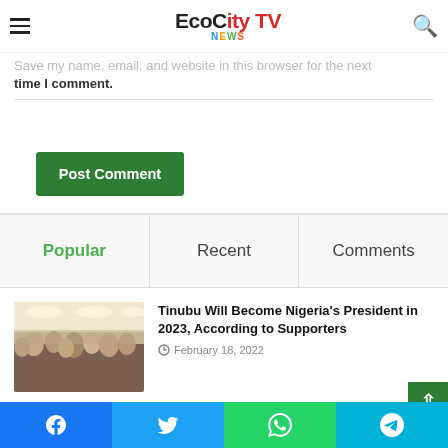Eco City TV News
Save my name, email, and website in this browser for the next time I comment.
Post Comment
Popular  Recent  Comments
[Figure (photo): Crowd of people in a room with ceiling lights]
Tinubu Will Become Nigeria's President in 2023, According to Supporters
February 18, 2022
[Figure (photo): Dark image partially visible]
Breaking: Everywhere On Standstill …
Facebook  Twitter  WhatsApp  Telegram